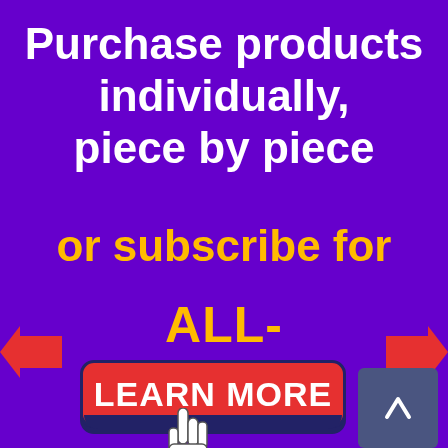Purchase products individually, piece by piece
or subscribe for ALL-ACCESS
[Figure (infographic): Red arrow pointing right on the left side and red arrow pointing left on the right side, flanking the ALL-ACCESS text. A red rounded-rectangle button labeled LEARN MORE with a dark blue shadow, a cursor hand icon below it, and a small blue-gray arrow-up button to the right.]